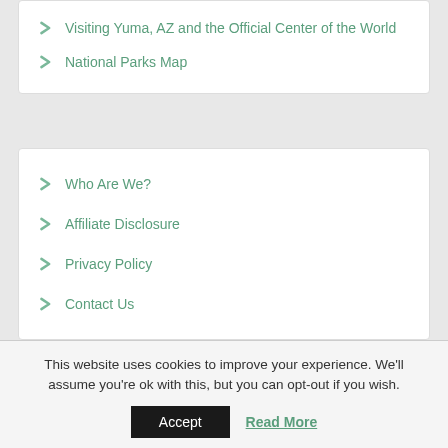Visiting Yuma, AZ and the Official Center of the World
National Parks Map
Who Are We?
Affiliate Disclosure
Privacy Policy
Contact Us
SUBSCRIBE TO OUR WEBSITE
This website uses cookies to improve your experience. We'll assume you're ok with this, but you can opt-out if you wish.
Accept
Read More